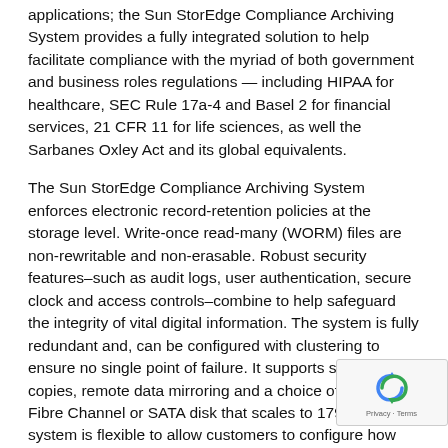applications; the Sun StorEdge Compliance Archiving System provides a fully integrated solution to help facilitate compliance with the myriad of both government and business roles regulations — including HIPAA for healthcare, SEC Rule 17a-4 and Basel 2 for financial services, 21 CFR 11 for life sciences, as well the Sarbanes Oxley Act and its global equivalents.
The Sun StorEdge Compliance Archiving System enforces electronic record-retention policies at the storage level. Write-once read-many (WORM) files are non-rewritable and non-erasable. Robust security features–such as audit logs, user authentication, secure clock and access controls–combine to help safeguard the integrity of vital digital information. The system is fully redundant and, can be configured with clustering to ensure no single point of failure. It supports snapshot copies, remote data mirroring and a choice of either Fibre Channel or SATA disk that scales to 179TB. The system is flexible to allow customers to configure how much of the disk is WORM protected; providing room to grow into compliance as needs expand. For layered storage, customers can opt for WORM tape backup/archive as well. The Sun StorEdge Compliance Archiving System has been evaluated to meet the Securities and Exchange Committee's 240.17a-4 regulation for